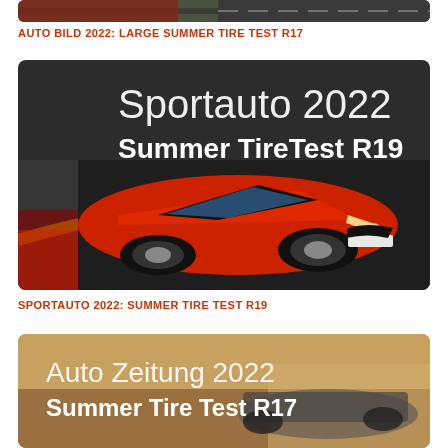[Figure (photo): Partial view of a tire test image at top of page, cropped]
AUTO BILD 2022: LARGE SUMMER TIRE TEST R17
[Figure (photo): Red Hyundai i30 N on a race track with text overlay: Sportauto 2022 Summer TireTest R19]
SPORTAUTO 2022: SUMMER TIRE TEST R19
[Figure (photo): Car on dusty road with text overlay: Auto Zeitung 2022 Summer Tire Test R17]